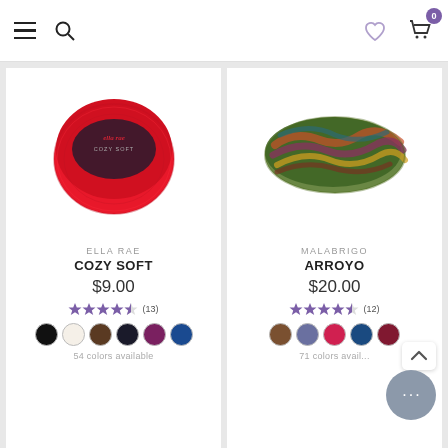Navigation bar with hamburger menu, search, heart/wishlist icon, and cart (0 items)
[Figure (photo): Red yarn ball with Ella Rae Cozy Soft label]
ELLA RAE
COZY SOFT
$9.00
[Figure (infographic): 4.5 star rating with (13) reviews]
54 colors available
[Figure (photo): Multicolor green/brown/pink skein of Malabrigo Arroyo yarn]
MALABRIGO
ARROYO
$20.00
[Figure (infographic): 4.5 star rating with (12) reviews]
71 colors available